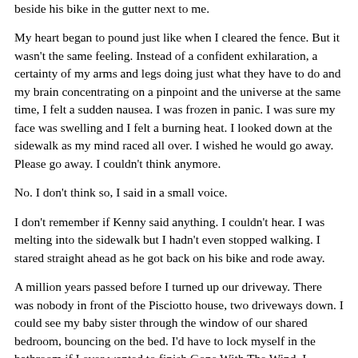beside his bike in the gutter next to me.
My heart began to pound just like when I cleared the fence. But it wasn't the same feeling. Instead of a confident exhilaration, a certainty of my arms and legs doing just what they have to do and my brain concentrating on a pinpoint and the universe at the same time, I felt a sudden nausea. I was frozen in panic. I was sure my face was swelling and I felt a burning heat. I looked down at the sidewalk as my mind raced all over. I wished he would go away. Please go away. I couldn't think anymore.
No. I don't think so, I said in a small voice.
I don't remember if Kenny said anything. I couldn't hear. I was melting into the sidewalk but I hadn't even stopped walking. I stared straight ahead as he got back on his bike and rode away.
A million years passed before I turned up our driveway. There was nobody in front of the Pisciotto house, two driveways down. I could see my baby sister through the window of our shared bedroom, bouncing on the bed. I'd have to lock myself in the bathroom if I ever wanted to finish Gone With The Wind, I thought. When I reached the courtyard, I looked around furtively to make sure no one noticed me go into the garage. Maybe I shouldn't have turned him away. Now we'll never talk again, I knew. Somehow, that was better. I wouldn't have to feel that vertigo, that